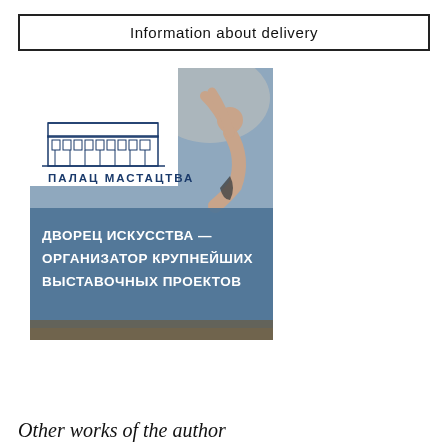Information about delivery
[Figure (illustration): Book or catalog cover image for 'Дворец Искусства' (Palace of Arts / Палац Мастацтва). Features a blue and grey background with a diving/acrobat figure on the right, and the building logo and Cyrillic text on the left. Text reads: ПАЛАЦ МАСТАЦТВА / ДВОРЕЦ ИСКУССТВА — ОРГАНИЗАТОР КРУПНЕЙШИХ ВЫСТАВОЧНЫХ ПРОЕКТОВ]
Other works of the author